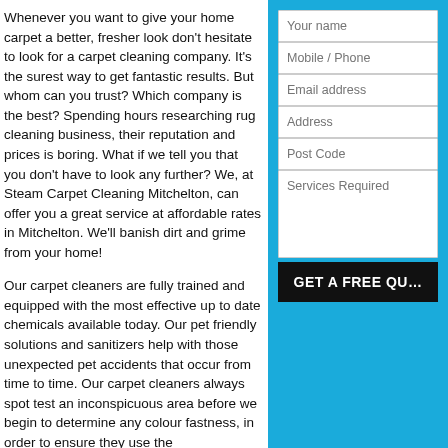Whenever you want to give your home carpet a better, fresher look don't hesitate to look for a carpet cleaning company. It's the surest way to get fantastic results. But whom can you trust? Which company is the best? Spending hours researching rug cleaning business, their reputation and prices is boring. What if we tell you that you don't have to look any further? We, at Steam Carpet Cleaning Mitchelton, can offer you a great service at affordable rates in Mitchelton. We'll banish dirt and grime from your home!
Our carpet cleaners are fully trained and equipped with the most effective up to date chemicals available today. Our pet friendly solutions and sanitizers help with those unexpected pet accidents that occur from time to time. Our carpet cleaners always spot test an inconspicuous area before we begin to determine any colour fastness, in order to ensure they use the
[Figure (other): Contact form with fields: Your name, Mobile / Phone, Email address, Address, Post Code, Services Required (textarea), and a GET A FREE QUOTE button]